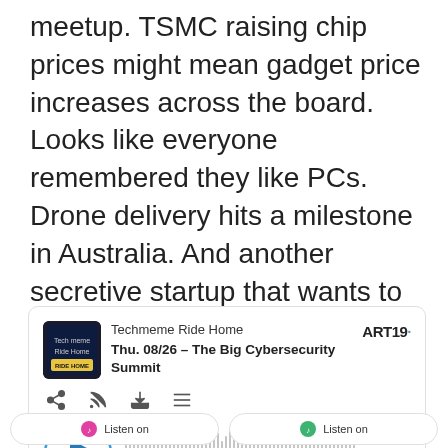meetup. TSMC raising chip prices might mean gadget price increases across the board. Looks like everyone remembered they like PCs. Drone delivery hits a milestone in Australia. And another secretive startup that wants to create a battery revolution.
[Figure (screenshot): Podcast player embed for 'Techmeme Ride Home' episode 'Thu. 08/26 – The Big Cybersecurity Summit', showing ART19 branding, play button, waveform, time 00:00/17:21, and Listen on label.]